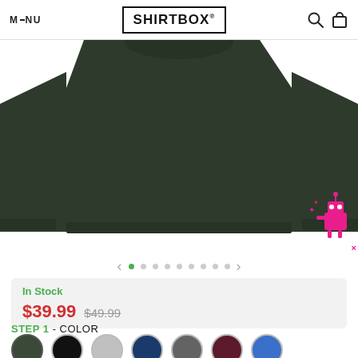MENU | SHIRTBOX® | [search icon] [cart icon]
[Figure (photo): Dark olive/forest green crewneck sweatshirt shown from the front-bottom, displaying both sleeves and the hem ribbing. A pink robot mascot icon appears in the bottom-right corner.]
In Stock
$39.99  $49.99
STEP 1 - COLOR
[Figure (other): Seven color swatch circles: dark olive/forest green, black, light gray, navy blue, medium gray, dark burgundy/maroon, royal blue]